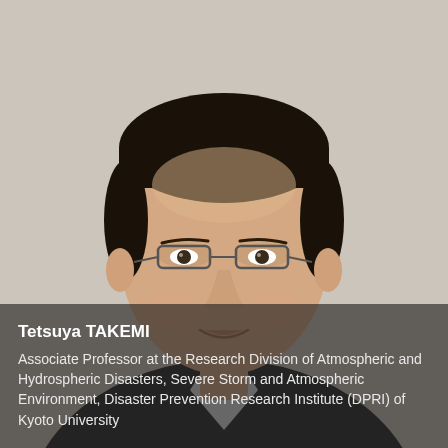[Figure (photo): Headshot portrait of Tetsuya TAKEMI, an Asian man wearing glasses and a dark suit with white shirt, photographed against a light gray background]
Tetsuya TAKEMI
Associate Professor at the Research Division of Atmospheric and Hydrospheric Disasters, Severe Storm and Atmospheric Environment, Disaster Prevention Research Institute (DPRI) of Kyoto University